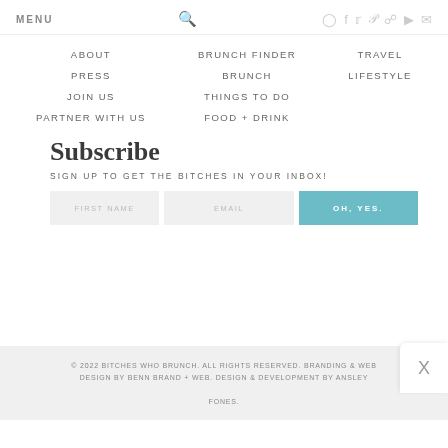MENU
ABOUT
BRUNCH FINDER
TRAVEL
PRESS
BRUNCH
LIFESTYLE
JOIN US
THINGS TO DO
PARTNER WITH US
FOOD + DRINK
Subscribe
SIGN UP TO GET THE BITCHES IN YOUR INBOX!
FIRST NAME | EMAIL | OH, YES.
© 2022 BITCHES WHO BRUNCH. ALL RIGHTS RESERVED. BRANDING & WEB DESIGN BY BENN BRAND + WEB. DESIGN & DEVELOPMENT BY ANSLEY FONES.